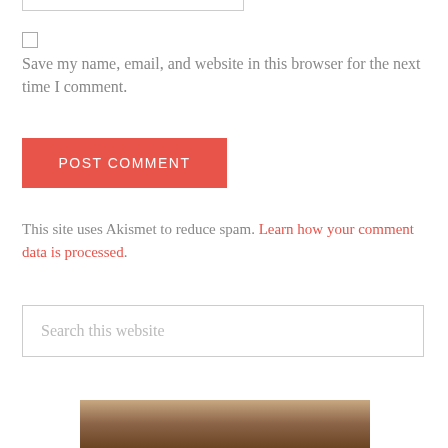[Figure (other): Top portion of a text input field (partially visible at top of page)]
[Figure (other): Checkbox input (unchecked)]
Save my name, email, and website in this browser for the next time I comment.
[Figure (other): Red POST COMMENT submit button]
This site uses Akismet to reduce spam. Learn how your comment data is processed.
[Figure (other): Search input field with placeholder text 'Search this website']
[Figure (photo): Partial photo visible at bottom of page, appears to show a dark/brown textured subject]